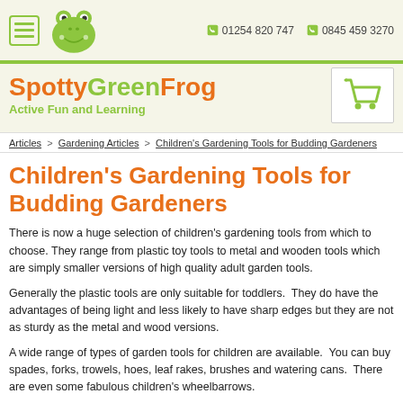SpottyGreenFrog — Active Fun and Learning | 01254 820 747 | 0845 459 3270
Articles > Gardening Articles > Children's Gardening Tools for Budding Gardeners
Children's Gardening Tools for Budding Gardeners
There is now a huge selection of children's gardening tools from which to choose. They range from plastic toy tools to metal and wooden tools which are simply smaller versions of high quality adult garden tools.
Generally the plastic tools are only suitable for toddlers. They do have the advantages of being light and less likely to have sharp edges but they are not as sturdy as the metal and wood versions.
A wide range of types of garden tools for children are available. You can buy spades, forks, trowels, hoes, leaf rakes, brushes and watering cans. There are even some fabulous children's wheelbarrows.